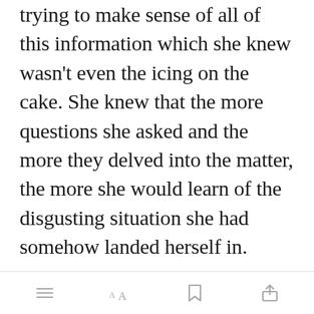trying to make sense of all of this information which she knew wasn't even the icing on the cake. She knew that the more questions she asked and the more they delved into the matter, the more she would learn of the disgusting situation she had somehow landed herself in.
“You know what? This is all starting to make sense now,” Thea sounded aloud with a thoughtful expression
[Figure (other): Green 'Open in app' button overlay]
toolbar with list icon, AA font size icon, bookmark icon, share icon